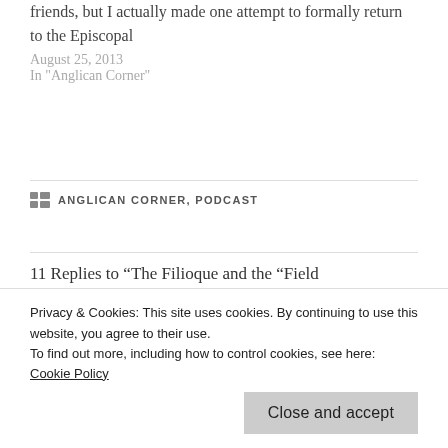to some of my Anglican friends, but I actually made one attempt to formally return to the Episcopal
August 25, 2013
In "Anglican Corner"
CATEGORIES: ANGLICAN CORNER, PODCAST
11 Replies to “The Filioque and the "Field
Privacy & Cookies: This site uses cookies. By continuing to use this website, you agree to their use.
To find out more, including how to control cookies, see here: Cookie Policy
Close and accept
Don